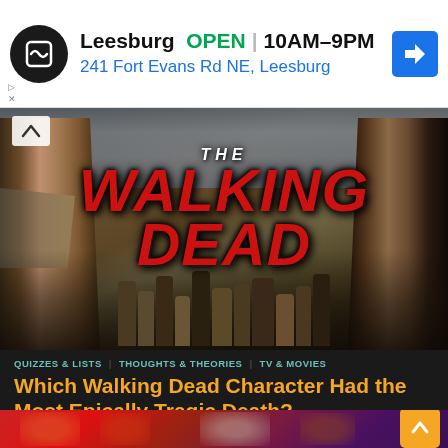[Figure (screenshot): Advertisement banner for a store in Leesburg showing store name, OPEN status, hours (10AM-9PM), and address (241 Fort Evans Rd NE, Leesburg) with a navigation arrow icon]
[Figure (photo): The Walking Dead TV show promotional image showing two facing characters on either side and a group of cast members in the middle, with large THE WALKING DEAD title text in red]
Which Walking Dead Character Had the Most Epically Tragic Death?
[Figure (photo): Bottom strip showing partial movie/show promotional image, appears to be Avengers-related, with superhero figures visible]